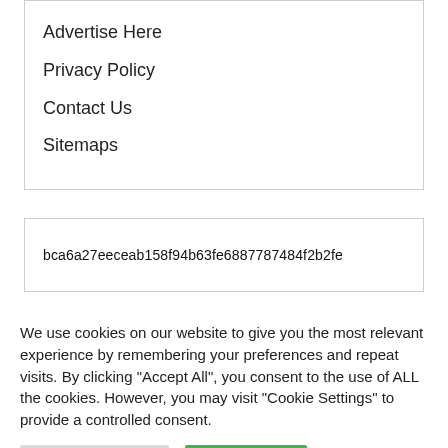Advertise Here
Privacy Policy
Contact Us
Sitemaps
bca6a27eeceab158f94b63fe6887787484f2b2fe
We use cookies on our website to give you the most relevant experience by remembering your preferences and repeat visits. By clicking "Accept All", you consent to the use of ALL the cookies. However, you may visit "Cookie Settings" to provide a controlled consent.
Cookie Settings
Accept All